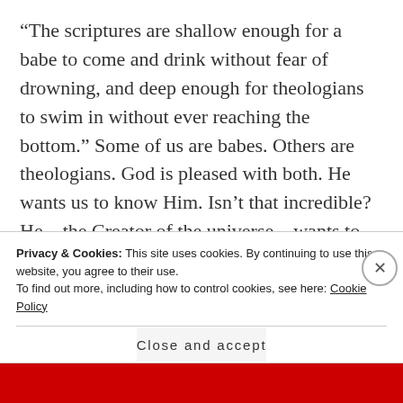“The scriptures are shallow enough for a babe to come and drink without fear of drowning, and deep enough for theologians to swim in without ever reaching the bottom.” Some of us are babes. Others are theologians. God is pleased with both. He wants us to know Him. Isn’t that incredible? He—the Creator of the universe—wants to be in fellowship with ME. He listens to ME. He feels the same about you.
Where to start? With a pen or a pencil and some
Privacy & Cookies: This site uses cookies. By continuing to use this website, you agree to their use.
To find out more, including how to control cookies, see here: Cookie Policy
Close and accept